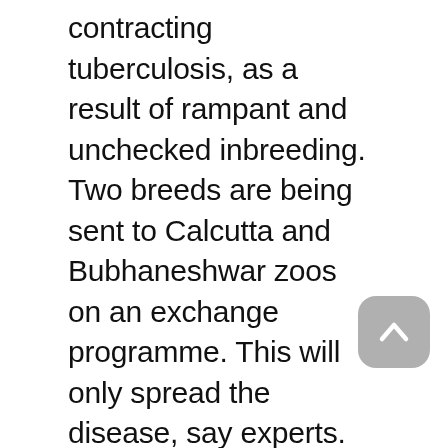contracting tuberculosis, as a result of rampant and unchecked inbreeding. Two breeds are being sent to Calcutta and Bubhaneshwar zoos on an exchange programme. This will only spread the disease, say experts.
The sound of snapping reptilian jaws suggests all is not well at the Madras Crocodile Bank. The main cause of the aggressive outbrusts is lack of space, say experts.
The fishing industry in West Bengal faces grim prospects with its richest reserve, the